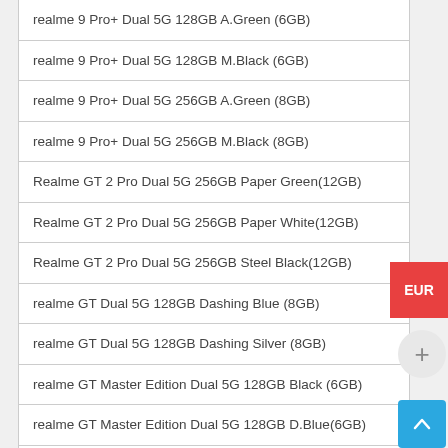| realme 9 Pro+ Dual 5G 128GB A.Green (6GB) |
| realme 9 Pro+ Dual 5G 128GB M.Black (6GB) |
| realme 9 Pro+ Dual 5G 256GB A.Green (8GB) |
| realme 9 Pro+ Dual 5G 256GB M.Black (8GB) |
| Realme GT 2 Pro Dual 5G 256GB Paper Green(12GB) |
| Realme GT 2 Pro Dual 5G 256GB Paper White(12GB) |
| Realme GT 2 Pro Dual 5G 256GB Steel Black(12GB) |
| realme GT Dual 5G 128GB Dashing Blue (8GB) |
| realme GT Dual 5G 128GB Dashing Silver (8GB) |
| realme GT Master Edition Dual 5G 128GB Black (6GB) |
| realme GT Master Edition Dual 5G 128GB D.Blue(6GB) |
| realme GT Master Edition Dual 5G 128GB White (6GB) |
| realme GT Master Edition Dual 5G 128GB V.Gray(6GB) |